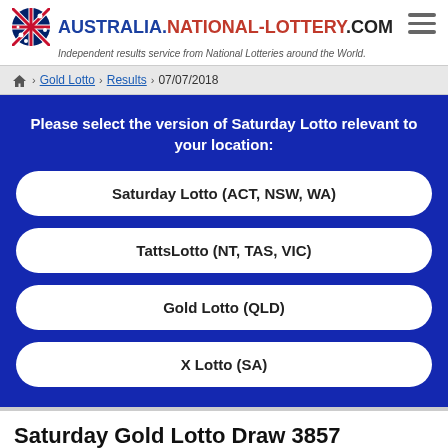AUSTRALIA.NATIONAL-LOTTERY.COM — Independent results service from National Lotteries around the World.
Home > Gold Lotto > Results > 07/07/2018
Please select the version of Saturday Lotto relevant to your location:
Saturday Lotto (ACT, NSW, WA)
TattsLotto (NT, TAS, VIC)
Gold Lotto (QLD)
X Lotto (SA)
Saturday Gold Lotto Draw 3857